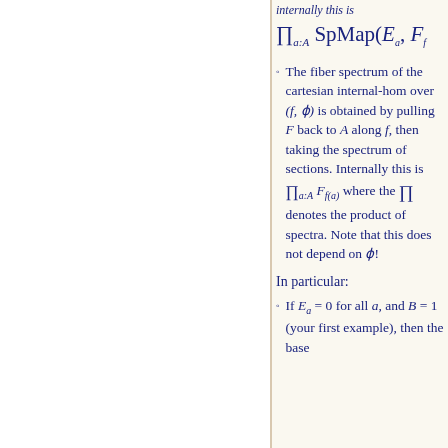The fiber spectrum of the cartesian internal-hom over (f, φ) is obtained by pulling F back to A along f, then taking the spectrum of sections. Internally this is ∏_{a:A} F_{f(a)} where the ∏ denotes the product of spectra. Note that this does not depend on φ!
In particular:
If E_a = 0 for all a, and B = 1 (your first example), then the base...